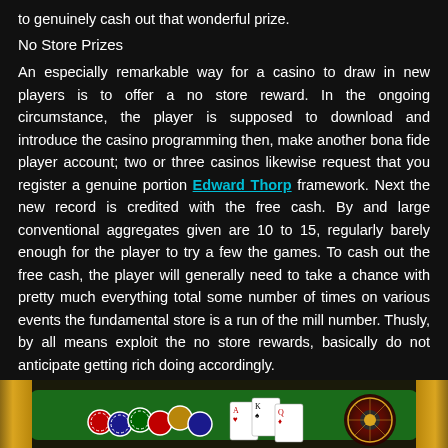to genuinely cash out that wonderful prize.
No Store Prizes
An especially remarkable way for a casino to draw in new players is to offer a no store reward. In the ongoing circumstance, the player is supposed to download and introduce the casino programming then, make another bona fide player account; two or three casinos likewise request that you register a genuine portion Edward Thorp framework. Next the new record is credited with the free cash. By and large conventional aggregates given are 10 to 15, regularly barely enough for the player to try a few the games. To cash out the free cash, the player will generally need to take a chance with pretty much everything total some number of times on various events the fundamental store is a run of the mill number. Thusly, by all means exploit the no store rewards, basically do not anticipate getting rich doing accordingly.
[Figure (photo): Casino table with roulette wheel, poker chips, and playing cards on a green felt surface]